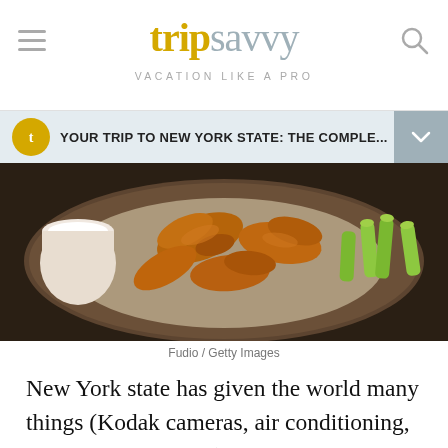tripsavvy VACATION LIKE A PRO
YOUR TRIP TO NEW YORK STATE: THE COMPLE...
[Figure (photo): Chicken wings on a wooden board with celery sticks and a dipping sauce, from above]
Fudio / Getty Images
New York state has given the world many things (Kodak cameras, air conditioning, and yes, toilet paper) and its contributions to the food world are numerous, from